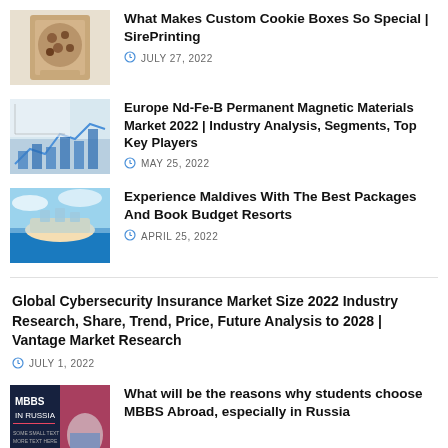[Figure (photo): Cookie boxes stacked]
What Makes Custom Cookie Boxes So Special | SirePrinting
JULY 27, 2022
[Figure (photo): Financial chart with bar graphs on paper]
Europe Nd-Fe-B Permanent Magnetic Materials Market 2022 | Industry Analysis, Segments, Top Key Players
MAY 25, 2022
[Figure (photo): Aerial view of Maldives island resort]
Experience Maldives With The Best Packages And Book Budget Resorts
APRIL 25, 2022
Global Cybersecurity Insurance Market Size 2022 Industry Research, Share, Trend, Price, Future Analysis to 2028 | Vantage Market Research
JULY 1, 2022
[Figure (photo): MBBS in Russia promotional image with student in medical coat]
What will be the reasons why students choose MBBS Abroad, especially in Russia